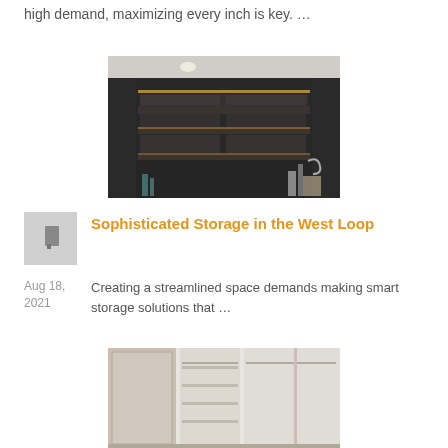high demand, maximizing every inch is key. …
[Figure (photo): Dark wood built-in shelving unit with LED strip lighting, showing multiple open shelves in a modern interior]
Sophisticated Storage in the West Loop
Aug 18, 2021
Creating a streamlined space demands making smart storage solutions that …
[Figure (photo): Light wood walk-in closet organizer with open shelving, hanging rods, and compartments]